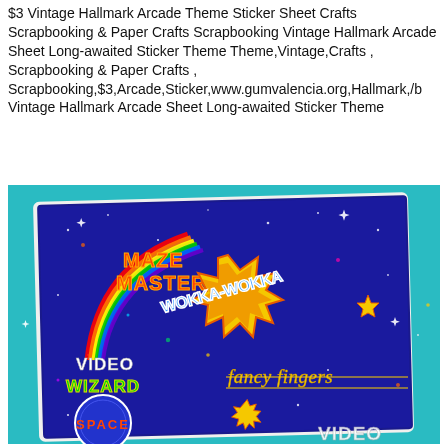$3 Vintage Hallmark Arcade Theme Sticker Sheet Crafts Scrapbooking & Paper Crafts Scrapbooking Vintage Hallmark Arcade Sheet Long-awaited Sticker Theme Theme,Vintage,Crafts , Scrapbooking & Paper Crafts , Scrapbooking,$3,Arcade,Sticker,www.gumvalencia.org,Hallmark,/b Vintage Hallmark Arcade Sheet Long-awaited Sticker Theme
[Figure (photo): Photo of a Vintage Hallmark Arcade Theme sticker sheet on a teal/turquoise background. The sticker sheet has a dark blue space background with colorful arcade game themed stickers including: 'MAZE MASTER' with a rainbow swoosh, 'WOKKA-WOKKA' in a yellow starburst explosion shape, 'VIDEO WIZARD' in colorful letters, 'fancy fingers' in yellow script, a circular 'SPACE' sticker at bottom left, a starburst at bottom center, and partial 'VIDEO' text at bottom right.]